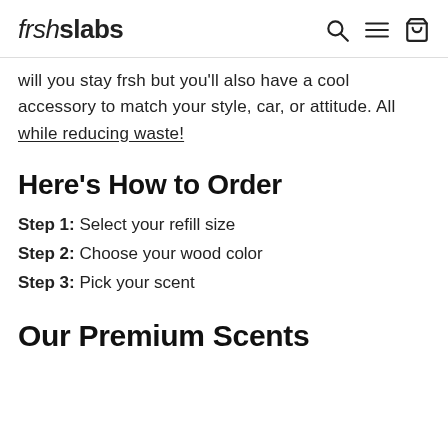frshslabs [search, menu, cart icons]
will you stay frsh but you'll also have a cool accessory to match your style, car, or attitude. All while reducing waste!
Here's How to Order
Step 1: Select your refill size
Step 2: Choose your wood color
Step 3: Pick your scent
Our Premium Scents